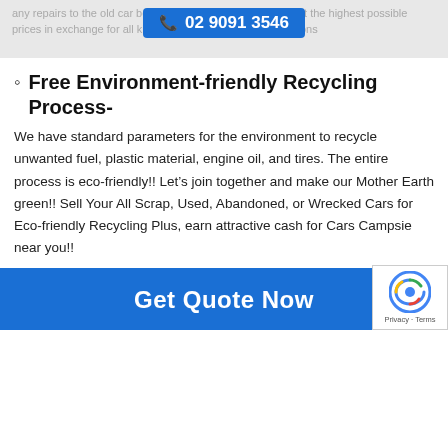any repairs to the old car before purchasing it in Sydney. Get the highest possible prices in exchange for all kinds of cars in all kinds of conditions
Free Environment-friendly Recycling Process-
We have standard parameters for the environment to recycle unwanted fuel, plastic material, engine oil, and tires. The entire process is eco-friendly!! Let’s join together and make our Mother Earth green!! Sell Your All Scrap, Used, Abandoned, or Wrecked Cars for Eco-friendly Recycling Plus, earn attractive cash for Cars Campsie near you!!
Get Quote Now